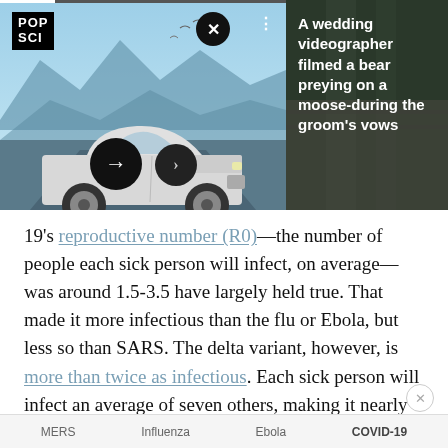[Figure (screenshot): Website banner showing a car advertisement on the left (Popular Science logo, silver SUV on scenic background with navigation arrows) and a dark panel on the right with text about a wedding videographer filming a bear preying on a moose during the groom's vows.]
19's reproductive number (R0)—the number of people each sick person will infect, on average—was around 1.5-3.5 have largely held true. That made it more infectious than the flu or Ebola, but less so than SARS. The delta variant, however, is more than twice as infectious. Each sick person will infect an average of seven others, making it nearly as contagious as chickenpox.
MERS    Influenza    Ebola    COVID-19